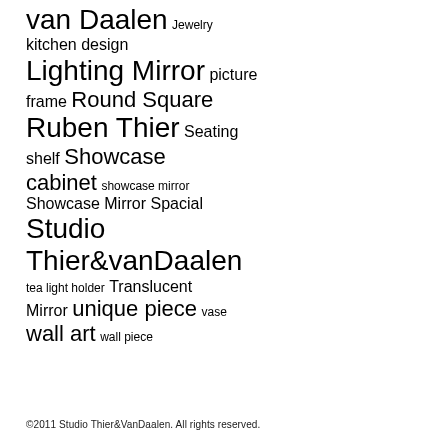van Daalen Jewelry kitchen design Lighting Mirror picture frame Round Square Ruben Thier Seating shelf Showcase cabinet showcase mirror Showcase Mirror Spacial Studio Thier&vanDaalen tea light holder Translucent Mirror unique piece vase wall art wall piece
©2011 Studio Thier&VanDaalen. All rights reserved.